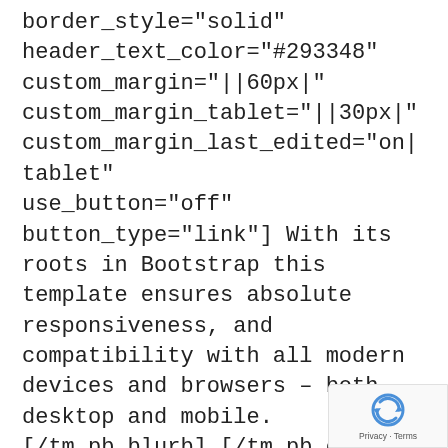border_style="solid" header_text_color="#293348" custom_margin="||60px|" custom_margin_tablet="||30px|" custom_margin_last_edited="on|tablet" use_button="off" button_type="link"] With its roots in Bootstrap this template ensures absolute responsiveness, and compatibility with all modern devices and browsers – both desktop and mobile. [/tm_pb_blurb] [/tm_pb_column][/tm_pb_row][tm_pb_row admin_label="Row"][tm_pb_column type="1_2"][tm_pb_blurb admin_label="Blurb" title="24/7 Live Support" url_new_window="off" use_icon="off"
[Figure (other): reCAPTCHA badge with Google logo and Privacy - Terms link]